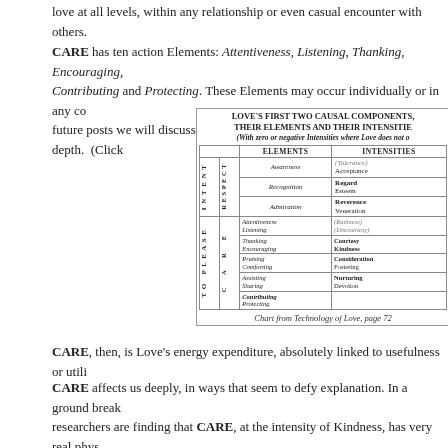love at all levels, within any relationship or even casual encounter with others.
CARE has ten action Elements: Attentiveness, Listening, Thanking, Encouraging, Contributing and Protecting. These Elements may occur individually or in any combination. In future posts we will discuss each of these Elements in much greater depth. (Click
[Figure (table-as-image): Table titled LOVE'S FIRST TWO CAUSAL COMPONENTS, THEIR ELEMENTS AND THEIR INTENSITIES showing INTENT TO PLEASE columns with RESPECT and CARE rows listing Elements (Awareness, Recognition, Admiration, Attentiveness, Listening, Thanking, Encouraging, Praising, Comforting, Assisting, Sharing, Contributing, Protecting) and Intensities ((Tolerance), Acceptance, Regard, Esteem, Reverence, Veneration, (Ruthness), (Discourtesy), Courtesy, Kindness, Consideration, Fostering, Nurturing, Devotion)]
Chart from Technology of Love, page 72
CARE, then, is Love's energy expenditure, absolutely linked to usefulness or utili
CARE affects us deeply, in ways that seem to defy explanation. In a ground break researchers are finding that CARE, at the intensity of Kindness, has very real phys Hamilton's article here: "Can Kindness Cut the Risk of Heart Disease?" Such evid